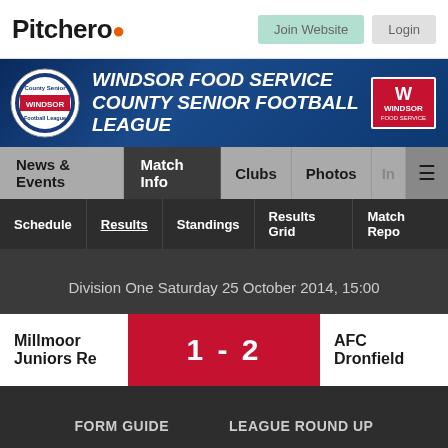Pitchero
[Figure (screenshot): Windsor Food Service County Senior Football League banner with league logo and Windsor Food Service sponsor logo]
News & Events  Match Info  Clubs  Photos
Schedule  Results  Standings  Results Grid  Match Reports
Division One Saturday 25 October 2014, 15:00
Millmoor Juniors Re  1 - 2  AFC Dronfield
FORM GUIDE  LEAGUE ROUND UP